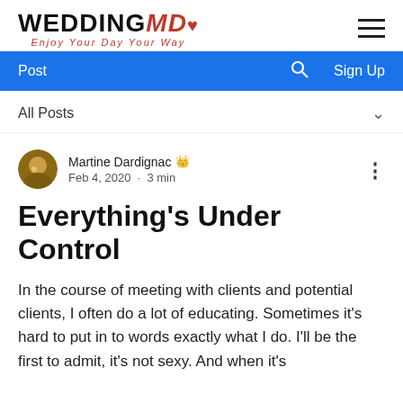WEDDINGMD — Enjoy Your Day Your Way
Post   🔍   Sign Up
All Posts
Martine Dardignac 👑 Admin
Feb 4, 2020 · 3 min
Everything's Under Control
In the course of meeting with clients and potential clients, I often do a lot of educating. Sometimes it's hard to put in to words exactly what I do. I'll be the first to admit, it's not sexy. And when it's